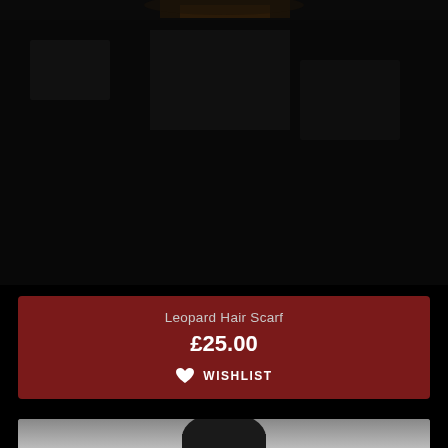[Figure (photo): Dark/black background photo at top of page, appears to be a fashion/product photo with dark clothing visible]
Leopard Hair Scarf
£25.00
WISHLIST
[Figure (photo): Bottom portion of another photo showing a person with dark hair on a grey gradient background]